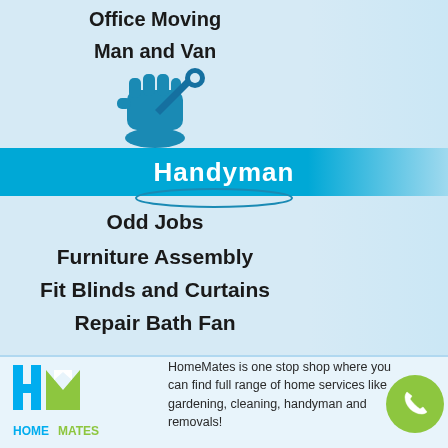Office Moving
Man and Van
[Figure (illustration): Handyman wrench/fist icon in blue, with oval outline below]
Handyman
Odd Jobs
Furniture Assembly
Fit Blinds and Curtains
Repair Bath Fan
[Figure (logo): HomeMates logo with blue H and M letters and green house icon, HOMEMATES text below]
HomeMates is one stop shop where you can find full range of home services like gardening, cleaning, handyman and removals!